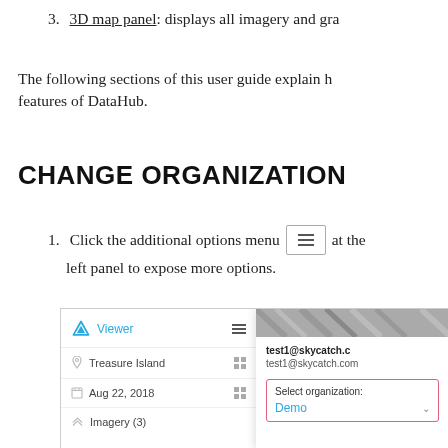3. 3D map panel: displays all imagery and gra
The following sections of this user guide explain h features of DataHub.
CHANGE ORGANIZATION
1. Click the additional options menu [≡] at the left panel to expose more options.
[Figure (screenshot): Screenshot of the DataHub Viewer interface showing left panel with Treasure Island location, Aug 22 2018 date, Imagery (3) items, and right panel showing user email test1@skycatch.com with a 'Select organization: Demo' dropdown highlighted in pink border]